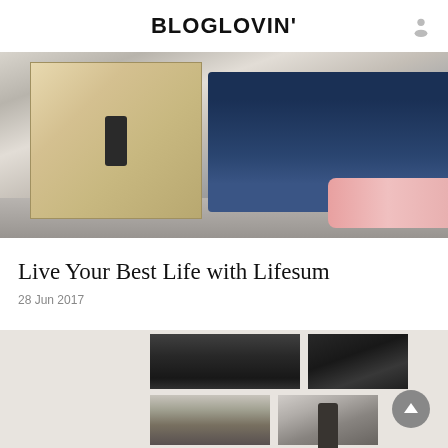BLOGLOVIN'
[Figure (photo): A person doing a box jump exercise outdoors. Wooden plyometric box on the left, person's legs in dark blue/navy athletic pants and pink sneakers visible on the right, with a concrete ground surface.]
Live Your Best Life with Lifesum
28 Jun 2017
[Figure (photo): A wall display of four black and white photography prints arranged in a grid. Top-left photo shows silhouettes of people near the Eiffel Tower, top-right shows dark urban/architectural scene. Bottom photos show cityscape and a person standing, possibly near a bridge. A person is partially visible in the lower right looking at the display. A circular scroll-to-top button is visible on the right side.]